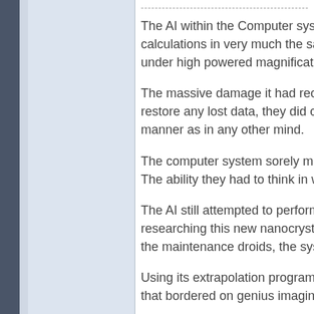------------------------------------------------------------
The AI within the Computer system calculations in very much the same under high powered magnification
The massive damage it had received restore any lost data, they did create manner as in any other mind.
The computer system sorely miss The ability they had to think in ways
The AI still attempted to perform researching this new nanocrystalli the maintenance droids, the system
Using its extrapolation program th that bordered on genius imaginatio
Once this step happened, then ca and utilize them in ways not dream contemplate things far outside the
A realization that bordered that ye